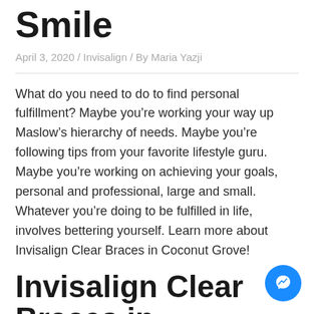Smile
April 3, 2020 / Invisalign / By Maria Yazji
What do you need to do to find personal fulfillment? Maybe you’re working your way up Maslow’s hierarchy of needs. Maybe you’re following tips from your favorite lifestyle guru. Maybe you’re working on achieving your goals, personal and professional, large and small. Whatever you’re doing to be fulfilled in life, involves bettering yourself. Learn more about Invisalign Clear Braces in Coconut Grove!
Invisalign Clear Braces in